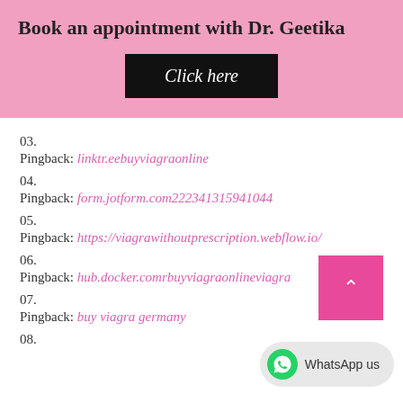Book an appointment with Dr. Geetika
[Figure (other): Black button with italic white text 'Click here']
03.
Pingback: linktr.eebuyviagraonline
04.
Pingback: form.jotform.com222341315941044
05.
Pingback: https://viagrawithoutprescription.webflow.io/
06.
Pingback: hub.docker.comrbuyviagraonlineviagra
07.
Pingback: buy viagra germany
08.